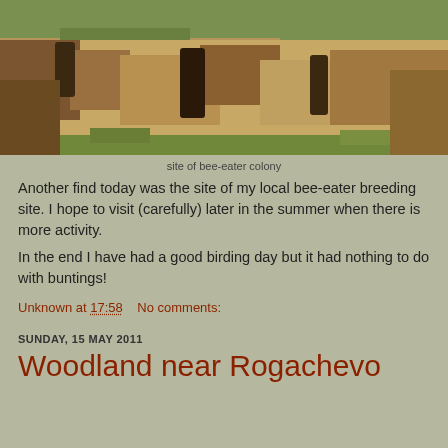[Figure (photo): Eroded sandy cliff face showing exposed soil and dirt banks with patches of green grass — site of a bee-eater colony nesting ground.]
site of bee-eater colony
Another find today was the site of my local bee-eater breeding site. I hope to visit (carefully) later in the summer when there is more activity.
In the end I have had a good birding day but it had nothing to do with buntings!
Unknown at 17:58    No comments:
SUNDAY, 15 MAY 2011
Woodland near Rogachevo